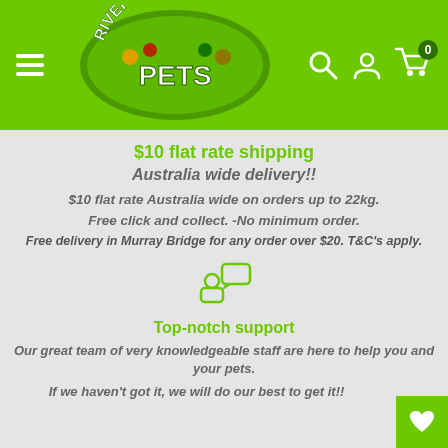[Figure (logo): River City Pets logo with animals]
$10 flat rate shipping
Australia wide delivery!!
$10 flat rate Australia wide on orders up to 22kg.
Free click and collect. -No minimum order.
Free delivery in Murray Bridge for any order over $20. T&C's apply.
[Figure (illustration): Support icon - person with speech bubble]
Top-notch support
Our great team of very knowledgeable staff are here to help you and your pets.
If we haven't got it, we will do our best to get it!!